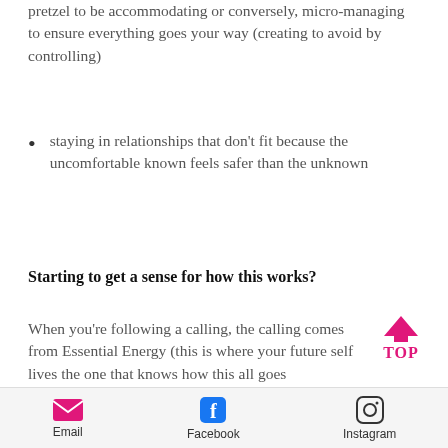pretzel to be accommodating or conversely, micro-managing to ensure everything goes your way (creating to avoid by controlling)
staying in relationships that don't fit because the uncomfortable known feels safer than the unknown
Starting to get a sense for how this works?
When you're following a calling, the calling comes from Essential Energy (this is where your future self lives the one that knows how this all goes
[Figure (illustration): Pink/magenta upward arrow icon with 'TOP' text label in magenta, used as a back-to-top navigation element]
Email   Facebook   Instagram